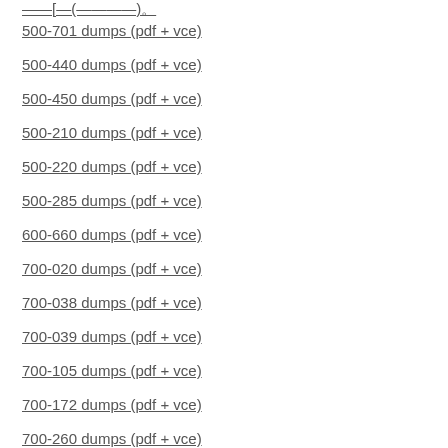500-701 dumps (pdf + vce)
500-440 dumps (pdf + vce)
500-450 dumps (pdf + vce)
500-210 dumps (pdf + vce)
500-220 dumps (pdf + vce)
500-285 dumps (pdf + vce)
600-660 dumps (pdf + vce)
700-020 dumps (pdf + vce)
700-038 dumps (pdf + vce)
700-039 dumps (pdf + vce)
700-105 dumps (pdf + vce)
700-172 dumps (pdf + vce)
700-260 dumps (pdf + vce)